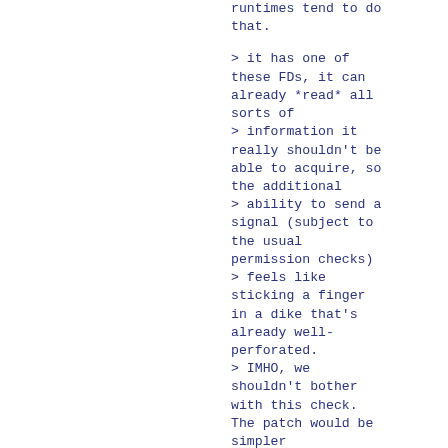runtimes tend to do that.
> it has one of these FDs, it can already *read* all sorts of
> information it really shouldn't be able to acquire, so the additional
> ability to send a signal (subject to the usual permission checks)
> feels like sticking a finger in a dike that's already well-perforated.
> IMHO, we shouldn't bother with this check. The patch would be simpler
> without it.
We will definitely not allow signaling processes in an